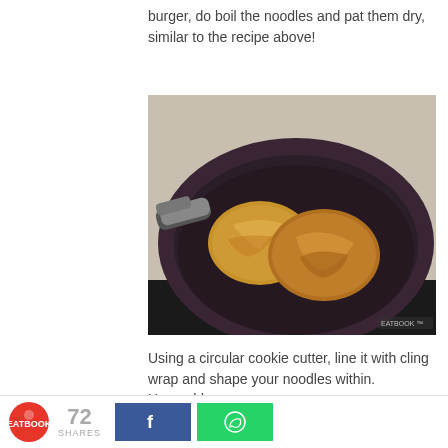burger, do boil the noodles and pat them dry, similar to the recipe above!
[Figure (photo): Two ramen noodle patties frying in a dark non-stick pan on a stovetop, viewed from a slight angle. The noodles are golden-brown and crispy shaped into round burger bun shapes.]
Using a circular cookie cutter, line it with cling wrap and shape your noodles within. Unmould the noodles after chilling for 20 minutes in the fridge. On an oiled pan, cook them on medium
72 SHARES